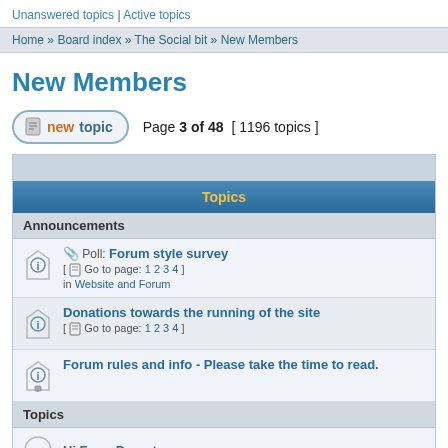Unanswered topics | Active topics
Home » Board index » The Social bit » New Members
New Members
Page 3 of 48  [ 1196 topics ]
Topics
Announcements
Poll: Forum style survey [ Go to page: 1 2 3 4 ] in Website and Forum
Donations towards the running of the site [ Go to page: 1 2 3 4 ]
Forum rules and info - Please take the time to read.
Topics
Hi From Dorset
Newbie